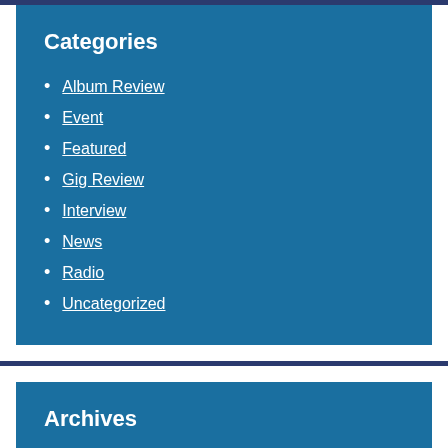Categories
Album Review
Event
Featured
Gig Review
Interview
News
Radio
Uncategorized
Archives